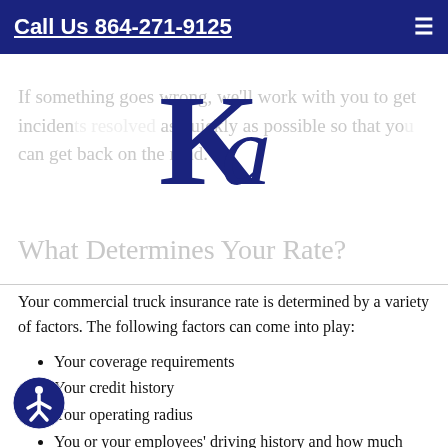Call Us 864-271-9125
If something goes wrong, we'll work with you to get incidents resolved as quickly as possible so that you can get back on the road.
[Figure (logo): KA insurance company logo — large stylized letters K and a in dark navy blue serif font]
What Determines Your Rate?
Your commercial truck insurance rate is determined by a variety of factors. The following factors can come into play:
Your coverage requirements
Your credit history
Your operating radius
You or your employees' driving history and how much they will use the truck
Your payment plan
Your truck or fleet's value
The cargo you are hauling
The driver's age and Commercial Driver's License (CDL) experience